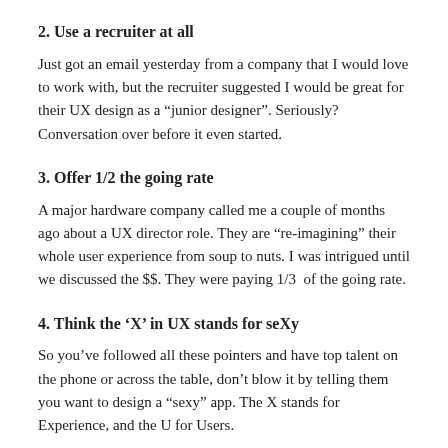2. Use a recruiter at all
Just got an email yesterday from a company that I would love to work with, but the recruiter suggested I would be great for their UX design as a “junior designer”. Seriously? Conversation over before it even started.
3. Offer 1/2 the going rate
A major hardware company called me a couple of months ago about a UX director role. They are “re-imagining” their whole user experience from soup to nuts. I was intrigued until we discussed the $$. They were paying 1/3  of the going rate.
4. Think the ‘X’ in UX stands for seXy
So you’ve followed all these pointers and have top talent on the phone or across the table, don’t blow it by telling them you want to design a “sexy” app. The X stands for Experience, and the U for Users.
The only way to blow your users socks off is to talk with them , get in their heads, and craft an experience that improves their life. Unless you are in the adult entertainment business or